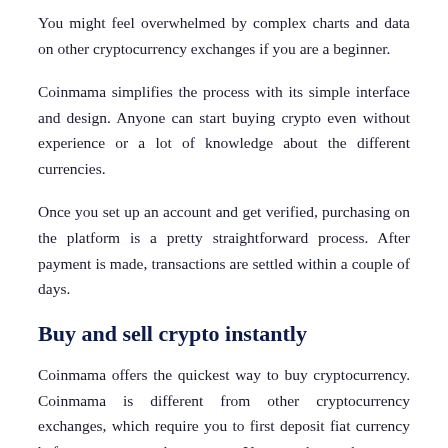You might feel overwhelmed by complex charts and data on other cryptocurrency exchanges if you are a beginner.
Coinmama simplifies the process with its simple interface and design. Anyone can start buying crypto even without experience or a lot of knowledge about the different currencies.
Once you set up an account and get verified, purchasing on the platform is a pretty straightforward process. After payment is made, transactions are settled within a couple of days.
Buy and sell crypto instantly
Coinmama offers the quickest way to buy cryptocurrency. Coinmama is different from other cryptocurrency exchanges, which require you to first deposit fiat currency before you can purchase crypto. You can choose the crypto you wish and then pay at checkout just like any other online shopping experience. The crypto will then be sent directly to your crypto wallet.